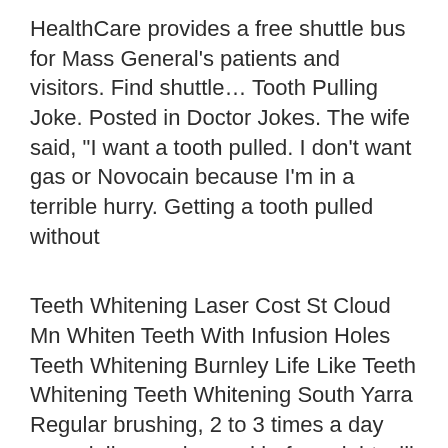HealthCare provides a free shuttle bus for Mass General's patients and visitors. Find shuttle… Tooth Pulling Joke. Posted in Doctor Jokes. The wife said, "I want a tooth pulled. I don't want gas or Novocain because I'm in a terrible hurry. Getting a tooth pulled without
Teeth Whitening Laser Cost St Cloud Mn Whiten Teeth With Infusion Holes Teeth Whitening Burnley Life Like Teeth Whitening Teeth Whitening South Yarra Regular brushing, 2 to 3 times a day especially morning and before night will lessen stain and prevent cavities.
Sep 6, 2018 … 'A few months ago my dog, Maggie, stole my dads dentures while he … Proud: A man woke up to his daughter's dog